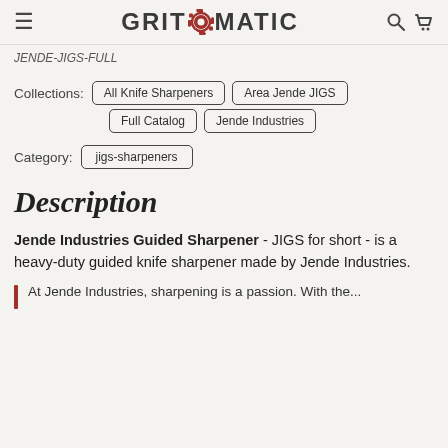GRITOMATIC
JENDE-JIGS-FULL
Collections: All Knife Sharpeners  Area Jende JIGS  Full Catalog  Jende Industries
Category: jigs-sharpeners
Description
Jende Industries Guided Sharpener - JIGS for short - is a heavy-duty guided knife sharpener made by Jende Industries.
At Jende Industries, sharpening is a passion. With the...